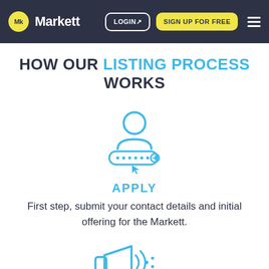Markett — LOGIN | SIGN UP FOR FREE
HOW OUR LISTING PROCESS WORKS
[Figure (illustration): Blue outline icon of a person/user with a card or name badge below, cursor clicking it — representing an application or registration step]
APPLY
First step, submit your contact details and initial offering for the Markett.
[Figure (illustration): Blue outline icon of a megaphone or announcement speaker with sound waves — partially visible at the bottom of the page]